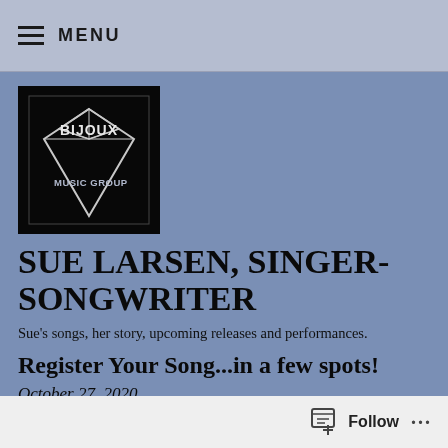≡ MENU
[Figure (logo): Bijoux Music Group logo — black background with a diamond gemstone illustration and the text BIJOUX MUSIC GROUP in white/silver lettering]
SUE LARSEN, SINGER-SONGWRITER
Sue's songs, her story, upcoming releases and performances.
Register Your Song...in a few spots!
October 27, 2020
Follow ...